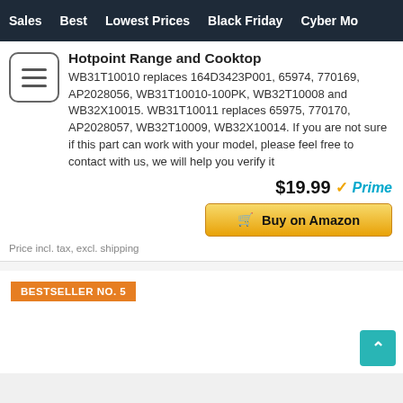Sales | Best | Lowest Prices | Black Friday | Cyber Mo
Hotpoint Range and Cooktop
WB31T10010 replaces 164D3423P001, 65974, 770169, AP2028056, WB31T10010-100PK, WB32T10008 and WB32X10015. WB31T10011 replaces 65975, 770170, AP2028057, WB32T10009, WB32X10014. If you are not sure if this part can work with your model, please feel free to contact with us, we will help you verify it
$19.99 Prime
Buy on Amazon
Price incl. tax, excl. shipping
BESTSELLER NO. 5